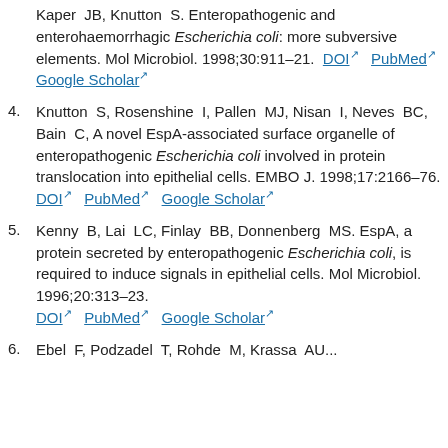...Kaper JB, Knutton S. Enteropathogenic and enterohaemorrhagic Escherichia coli: more subversive elements. Mol Microbiol. 1998;30:911–21. DOI PubMed Google Scholar
4. Knutton S, Rosenshine I, Pallen MJ, Nisan I, Neves BC, Bain C, A novel EspA-associated surface organelle of enteropathogenic Escherichia coli involved in protein translocation into epithelial cells. EMBO J. 1998;17:2166–76. DOI PubMed Google Scholar
5. Kenny B, Lai LC, Finlay BB, Donnenberg MS. EspA, a protein secreted by enteropathogenic Escherichia coli, is required to induce signals in epithelial cells. Mol Microbiol. 1996;20:313–23. DOI PubMed Google Scholar
6. Ebel F, Podzadel T, Rohde M, Krassa AU...